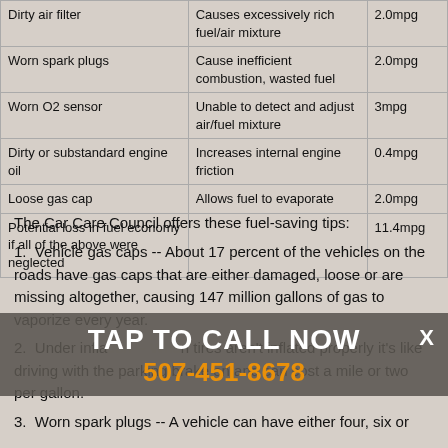| Dirty air filter | Causes excessively rich fuel/air mixture | 2.0mpg |
| Worn spark plugs | Cause inefficient combustion, wasted fuel | 2.0mpg |
| Worn O2 sensor | Unable to detect and adjust air/fuel mixture | 3mpg |
| Dirty or substandard engine oil | Increases internal engine friction | 0.4mpg |
| Loose gas cap | Allows fuel to evaporate | 2.0mpg |
| Potential loss in fuel economy if all of the above were neglected |  | 11.4mpg |
The Car Care Council offers these fuel-saving tips:
Vehicle gas caps -- About 17 percent of the vehicles on the roads have gas caps that are either damaged, loose or are missing altogether, causing 147 million gallons of gas to vaporize every year.
Under inflation -- When tires aren't inflated properly it's like driving with the parking brake on and can cost a mile or two per gallon.
Worn spark plugs -- A vehicle can have either four, six or